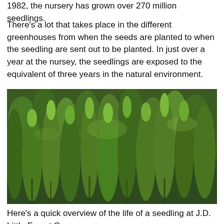1982, the nursery has grown over 270 million seedlings.
There's a lot that takes place in the different greenhouses from when the seeds are planted to when the seedling are sent out to be planted. In just over a year at the nursey, the seedlings are exposed to the equivalent of three years in the natural environment.
[Figure (photo): Dense forest of young green conifer seedlings/trees packed closely together, viewed from ground level looking across the tops of the trees.]
Here's a quick overview of the life of a seedling at J.D. Little Forest C...